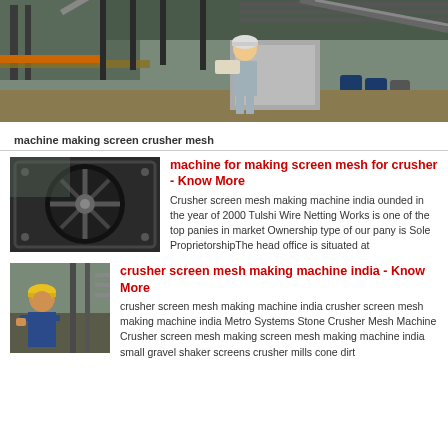[Figure (photo): A worker in a hard hat and coveralls holding blueprints/plans at an industrial quarry/crusher site with conveyor belts and machinery in background.]
machine making screen crusher mesh
[Figure (photo): Close-up of a large industrial crusher/grinding machine interior showing a rotating disc or rotor.]
machine for making screen mesh for crusher - Know More
Crusher screen mesh making machine india ounded in the year of 2000 Tulshi Wire Netting Works is one of the top panies in market Ownership type of our pany is Sole ProprietorshipThe head office is situated at
[Figure (photo): A worker in a yellow hard hat and blue jacket at an industrial facility.]
crusher screen mesh making machine india - Know More
crusher screen mesh making machine india crusher screen mesh making machine india Metro Systems Stone Crusher Mesh Machine Crusher screen mesh making screen mesh making machine india small gravel shaker screens crusher mills cone dirt